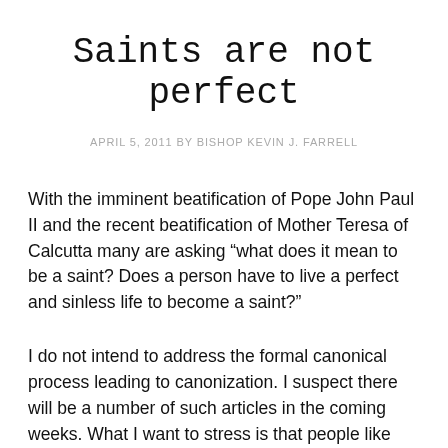Saints are not perfect
APRIL 5, 2011 BY BISHOP KEVIN J. FARRELL
With the imminent beatification of Pope John Paul II and the recent beatification of Mother Teresa of Calcutta many are asking “what does it mean to be a saint? Does a person have to live a perfect and sinless life to become a saint?”
I do not intend to address the formal canonical process leading to canonization. I suspect there will be a number of such articles in the coming weeks. What I want to stress is that people like Pope John Paul II and Mother Teresa were normal